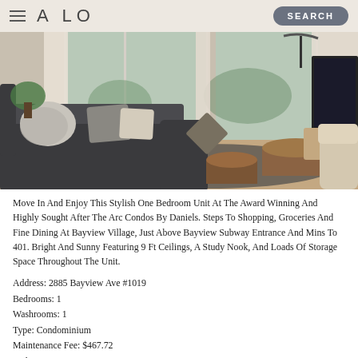A LO   SEARCH
[Figure (photo): Interior photo of a stylish one-bedroom condo living room with dark sectional sofa, cylindrical wooden coffee tables, large floor-to-ceiling windows with city view, and a television on the right side.]
Move In And Enjoy This Stylish One Bedroom Unit At The Award Winning And Highly Sought After The Arc Condos By Daniels. Steps To Shopping, Groceries And Fine Dining At Bayview Village, Just Above Bayview Subway Entrance And Mins To 401. Bright And Sunny Featuring 9 Ft Ceilings, A Study Nook, And Loads Of Storage Space Throughout The Unit.
Address: 2885 Bayview Ave #1019
Bedrooms: 1
Washrooms: 1
Type: Condominium
Maintenance Fee: $467.72
Parking: 1